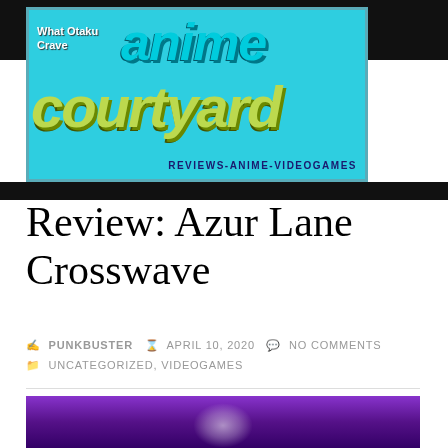[Figure (logo): Anime Courtyard website logo on cyan/teal background with text 'What Otaku Crave', 'anime' in cyan stylized font, 'COURTYARD' in yellow-green large font, and subtitle 'REVIEWS-ANIME-VIDEOGAMES']
Review: Azur Lane Crosswave
PUNKBUSTER   APRIL 10, 2020   NO COMMENTS   UNCATEGORIZED, VIDEOGAMES
[Figure (photo): Partial preview image of game screenshot with purple/violet tones, partially visible at bottom of page]